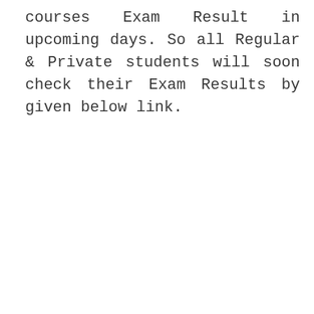courses Exam Result in upcoming days. So all Regular & Private students will soon check their Exam Results by given below link.